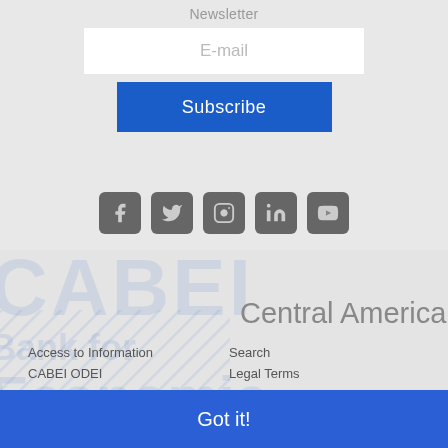Newsletter
E-mail
Subscribe
[Figure (infographic): CABEI logo watermark in light blue, with hatched diagonal lines in lower left, and text reading 'Central American Bank for Economic Integration']
[Figure (infographic): Social media icons row: Facebook, Twitter, Instagram, LinkedIn, YouTube]
Access to Information
CABEI ODEI
Events
Publications
Search
Legal Terms
Privacy Policy
Sitemap
This website uses cookies to ensure you get the best experience on our website. Learn more
Got it!
Central American Bank for Economic Integration © Rights Reserved 2022